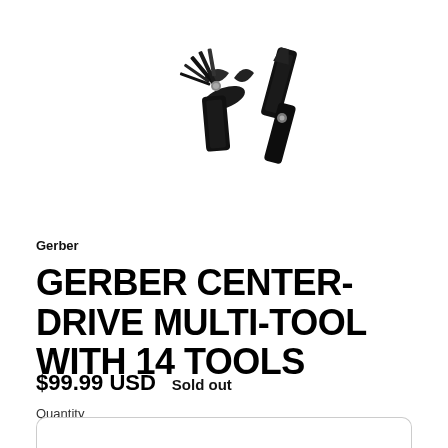[Figure (photo): Product photo of Gerber Center-Drive multi-tool shown open and closed, black multi-tool with pliers and various tools extended, white background]
Gerber
GERBER CENTER-DRIVE MULTI-TOOL WITH 14 TOOLS
$99.99 USD   Sold out
Quantity
1